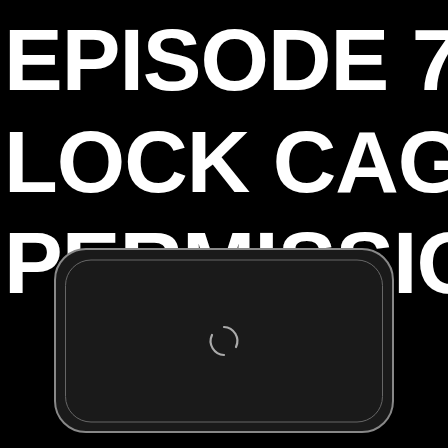EPISODE 77: LOCK CAGE OF PERMISSION
[Figure (photo): A dark rounded rectangle device (resembling a wireless charger or small electronics device) with a white border outline and a small circular sync/loading icon in the center, photographed on a black background.]